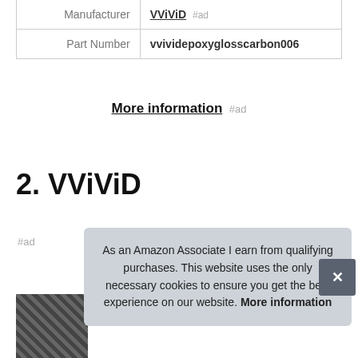|  |  |
| --- | --- |
| Manufacturer | VViViD #ad |
| Part Number | vvividepoxyglosscarbon006 |
More information #ad
2. VViViD
#ad
[Figure (photo): Partial product image visible at bottom left]
As an Amazon Associate I earn from qualifying purchases. This website uses the only necessary cookies to ensure you get the best experience on our website. More information